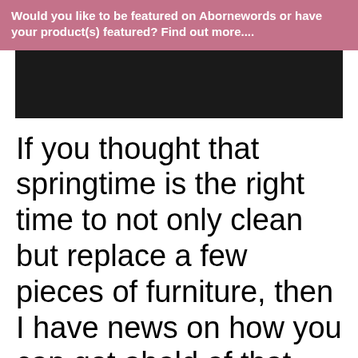Would you like to be featured on Abornewords or have your product(s) featured? Find out more....
[Figure (other): Dark/black rectangular banner image]
If you thought that springtime is the right time to not only clean but replace a few pieces of furniture, then I have news on how you can get ahold of that new for your home environment. Or maybe you